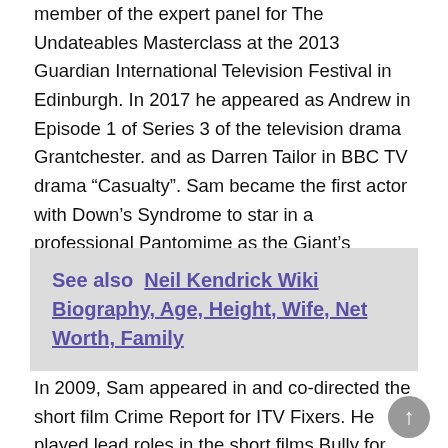member of the expert panel for The Undateables Masterclass at the 2013 Guardian International Television Festival in Edinburgh. In 2017 he appeared as Andrew in Episode 1 of Series 3 of the television drama Grantchester. and as Darren Tailor in BBC TV drama “Casualty”. Sam became the first actor with Down’s Syndrome to star in a professional Pantomime as the Giant’s Henchman in Jack and the Beanstalk at the RCC Theatre, Rye in 2017
See also  Neil Kendrick Wiki Biography, Age, Height, Wife, Net Worth, Family
In 2009, Sam appeared in and co-directed the short film Crime Report for ITV Fixers. He played lead roles in the short films Bully for You, produced by Voice UK and the Ministry of Justice in 2010 and See My Ability, produced by Derbyshire County Council and the Crown Prosecution